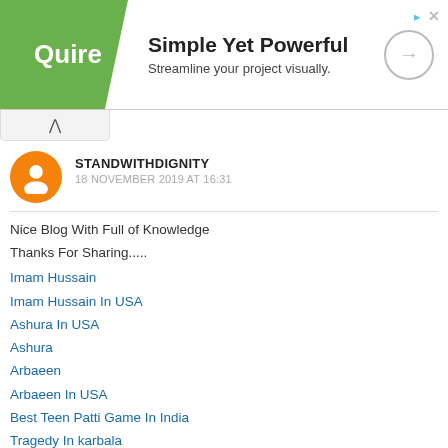[Figure (screenshot): Quire advertisement banner: green logo on left, 'Simple Yet Powerful / Streamline your project visually.' on right with circular arrow icon]
STANDWITHDIGNITY
18 NOVEMBER 2019 AT 16:31
Nice Blog With Full of Knowledge
Thanks For Sharing.....
Imam Hussain
Imam Hussain In USA
Ashura In USA
Ashura
Arbaeen
Arbaeen In USA
Best Teen Patti Game In India
Tragedy In karbala
Tragedy In karbala In USA
Stand With Dignity
Karbala In USA
Karbala
Who is hussain Standwithdignity
Reply